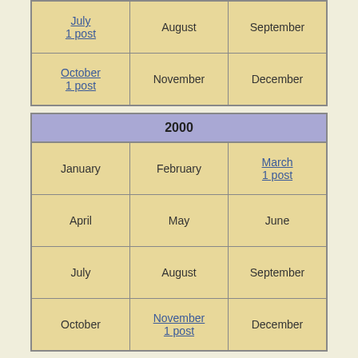| [July] 1 post | [August] | [September] |
| October 1 post | November | December |
| 2000 |
| --- |
| January | February | March 1 post |
| April | May | June |
| July | August | September |
| October | November 1 post | December |
| 1999 |
| --- |
| January | February | March |